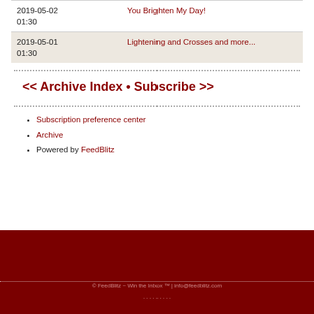| Date | Title |
| --- | --- |
| 2019-05-02 01:30 | You Brighten My Day! |
| 2019-05-01 01:30 | Lightening and Crosses and more... |
<< Archive Index • Subscribe >>
Subscription preference center
Archive
Powered by FeedBlitz
© FeedBlitz ~ Win the Inbox ™ | info@feedblitz.com